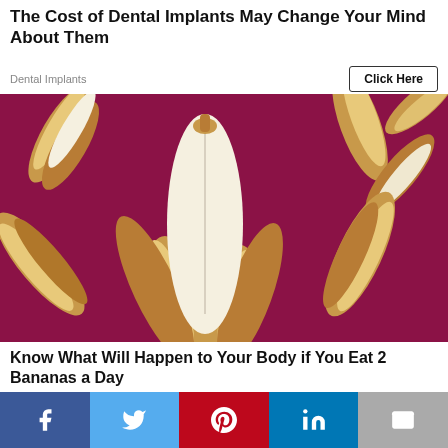The Cost of Dental Implants May Change Your Mind About Them
Dental Implants
Click Here
[Figure (photo): Multiple bananas floating/falling on a dark magenta/crimson background. One large banana in foreground is peeled open, showing the white interior. Other bananas are partially peeled and scattered around.]
Know What Will Happen to Your Body if You Eat 2 Bananas a Day
Bananas
Facebook | Twitter | Pinterest | LinkedIn | Email